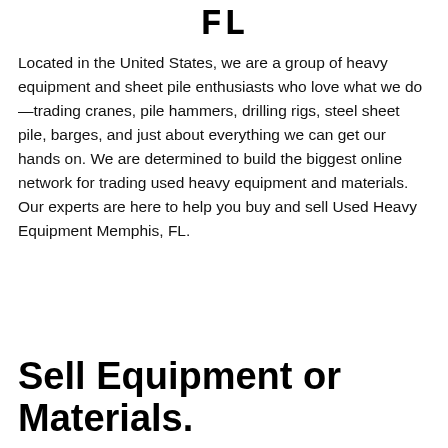FL
Located in the United States, we are a group of heavy equipment and sheet pile enthusiasts who love what we do—trading cranes, pile hammers, drilling rigs, steel sheet pile, barges, and just about everything we can get our hands on. We are determined to build the biggest online network for trading used heavy equipment and materials. Our experts are here to help you buy and sell Used Heavy Equipment Memphis, FL.
Sell Equipment or Materials.